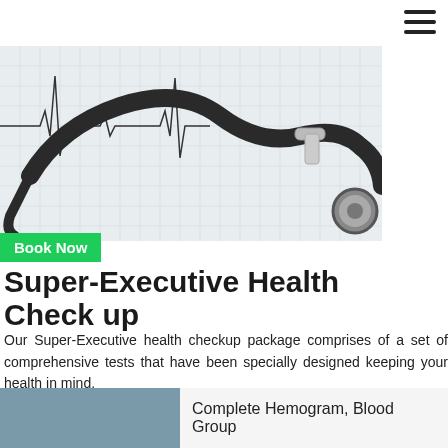[Figure (photo): A stethoscope placed on ECG/EKG graph paper, medical health check-up themed image.]
Book Now
Super-Executive Health Check up
Our Super-Executive health checkup package comprises of a set of comprehensive tests that have been specially designed keeping your health in mind.
Complete Hemogram, Blood Group